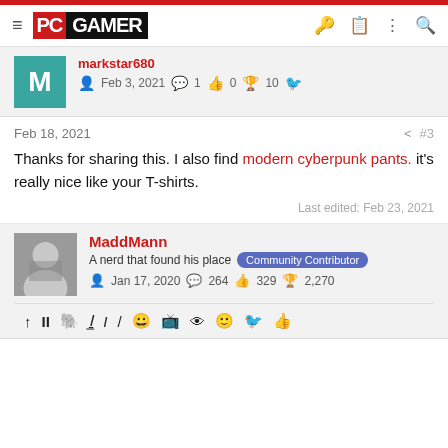PC GAMER
markstar680 — Feb 3, 2021 — 1 — 0 — 10
Feb 18, 2021 #3
Thanks for sharing this. I also find modern cyberpunk pants. it's really nice like your T-shirts.
Last edited: Feb 23, 2021
MaddMann — A nerd that found his place — Community Contributor — Jan 17, 2020 — 264 — 329 — 2,270